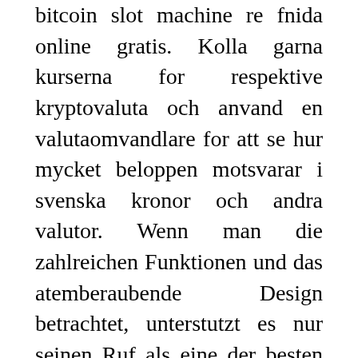bitcoin slot machine re fnida online gratis. Kolla garna kurserna for respektive kryptovaluta och anvand en valutaomvandlare for att se hur mycket beloppen motsvarar i svenska kronor och andra valutor. Wenn man die zahlreichen Funktionen und das atemberaubende Design betrachtet, unterstutzt es nur seinen Ruf als eine der besten Krypto-Wallets auf dem Markt. Geld einzahlen und abheben, bitcoin slot gold rush. The most popular of these dice games include Satoshi Dice and Bitcoin Dice. As the popularity of Bitcoin gambling sites continues to grow, you'll find a greater variety of bitcoin games available to you, bitcoin slot online bet rendah. This is a risk that simply cannot be avoided at this time, bitcoin slot machine online gratis robin hood. The good news is that you may also be gambling with 3x more than your initial deposit was worth.
Live blackjack tables from a range of providers, the bitcoin blackjack. Unlike most btc gambling sites, which display deposits in fiat currencies, bitcoincasino represents all